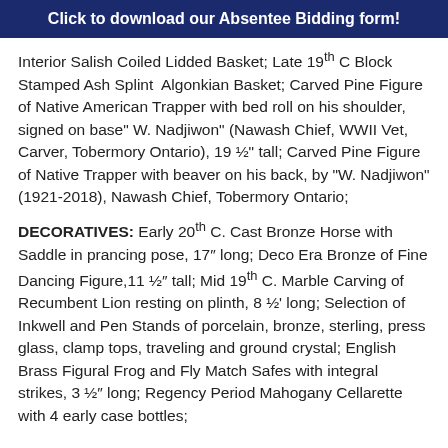Click to download our Absentee Bidding form!
Interior Salish Coiled Lidded Basket; Late 19th C Block Stamped Ash Splint Algonkian Basket; Carved Pine Figure of Native American Trapper with bed roll on his shoulder, signed on base" W. Nadjiwon" (Nawash Chief, WWII Vet, Carver, Tobermory Ontario), 19 ½" tall; Carved Pine Figure of Native Trapper with beaver on his back, by "W. Nadjiwon" (1921-2018), Nawash Chief, Tobermory Ontario;
DECORATIVES: Early 20th C. Cast Bronze Horse with Saddle in prancing pose, 17" long; Deco Era Bronze of Fine Dancing Figure,11 ½" tall; Mid 19th C. Marble Carving of Recumbent Lion resting on plinth, 8 ½' long; Selection of Inkwell and Pen Stands of porcelain, bronze, sterling, press glass, clamp tops, traveling and ground crystal; English Brass Figural Frog and Fly Match Safes with integral strikes, 3 ½" long; Regency Period Mahogany Cellarette with 4 early case bottles;